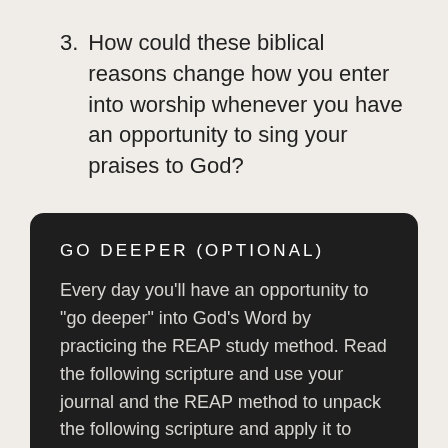3. How could these biblical reasons change how you enter into worship whenever you have an opportunity to sing your praises to God?
GO DEEPER (OPTIONAL)
Every day you'll have an opportunity to "go deeper" into God's Word by practicing the REAP study method. Read the following scripture and use your journal and the REAP method to unpack the following scripture and apply it to your life.